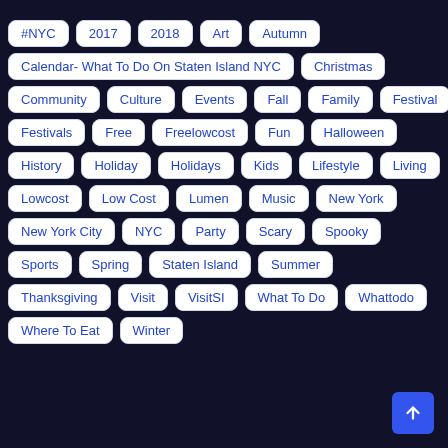#NYC
2017
2018
Art
Autumn
Calendar- What To Do On Staten Island NYC
Christmas
Community
Culture
Events
Fall
Family
Festival
Festivals
Free
Freelowcost
Fun
Halloween
History
Holiday
Holidays
Kids
Lifestyle
Living
Lowcost
Low Cost
Lumen
Music
New York
New York City
NYC
Party
Scary
Spooky
Sports
Spring
Staten Island
Summer
Thanksgiving
Visit
VisitSI
What To Do
Whattodo
Where To Eat
Winter